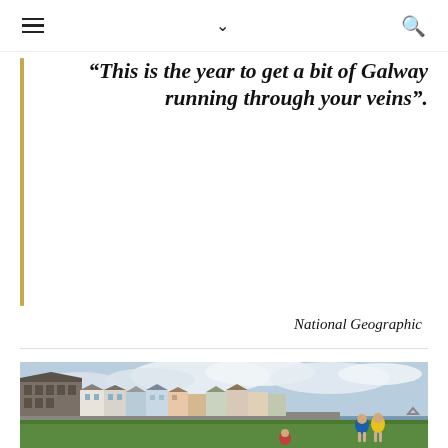Navigation header with menu, chevron, and search icons
“This is the year to get a bit of Galway running through your veins”.
National Geographic
[Figure (photo): Waterfront view of Galway city with colourful buildings along the shore, people walking along the grassy riverbank under a partly cloudy sky]